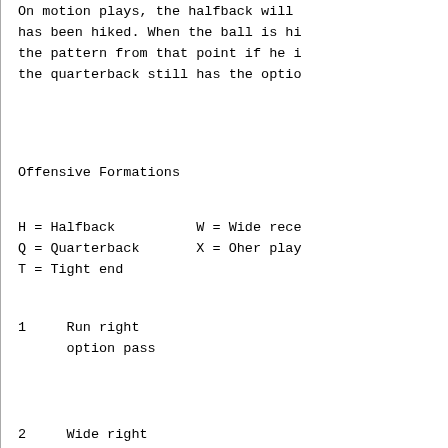On motion plays, the halfback will has been hiked. When the ball is hi the pattern from that point if he i the quarterback still has the optio
Offensive Formations
H = Halfback          W = Wide rece
Q = Quarterback       X = Oher play
T = Tight end
1    Run right
     option pass
2    Wide right
3    Run left            W
     option pass
5    Halfback pass
     motion left